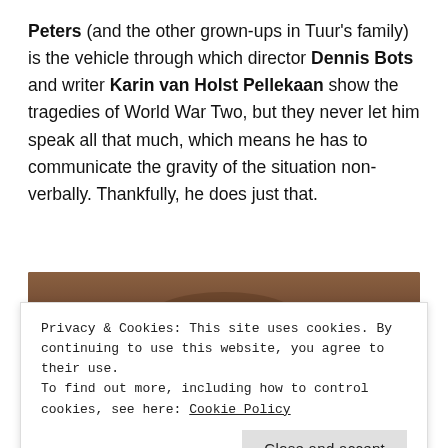Peters (and the other grown-ups in Tuur's family) is the vehicle through which director Dennis Bots and writer Karin van Holst Pellekaan show the tragedies of World War Two, but they never let him speak all that much, which means he has to communicate the gravity of the situation non-verbally. Thankfully, he does just that.
[Figure (photo): Partial view of a dark photograph, visible behind the cookie consent banner overlay.]
Privacy & Cookies: This site uses cookies. By continuing to use this website, you agree to their use.
To find out more, including how to control cookies, see here: Cookie Policy
Close and accept